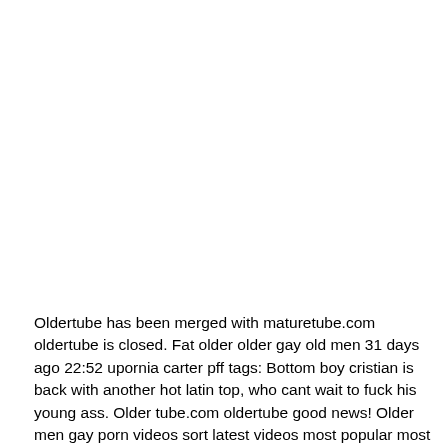Oldertube has been merged with maturetube.com oldertube is closed. Fat older older gay old men 31 days ago 22:52 upornia carter pff tags: Bottom boy cristian is back with another hot latin top, who cant wait to fuck his young ass. Older tube.com oldertube good news! Older men gay porn videos sort latest videos most popular most viewed 2 3 4 next 13:05 two grey foxes pumping ass together 76.2k views 70.7% 33:55 wild old man enjoying a kinky